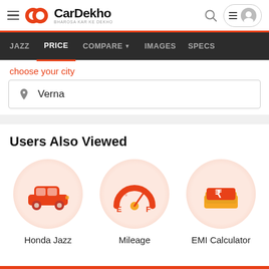[Figure (logo): CarDekho logo with orange icon and text 'CarDekho', tagline 'BHAROSA KAR KE DEKHO']
JAZZ  PRICE  COMPARE  IMAGES  SPECS
choose your city
Verna
Users Also Viewed
[Figure (illustration): Orange car icon on light orange circular background - Honda Jazz]
Honda Jazz
[Figure (illustration): Orange fuel gauge/speedometer icon on light orange circular background - Mileage]
Mileage
[Figure (illustration): Orange/gold EMI/rupee currency icon on light orange circular background - EMI Calculator]
EMI Calculator